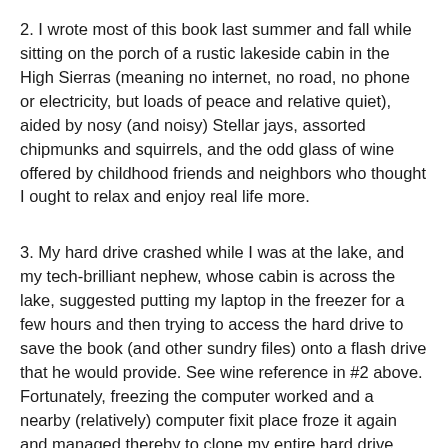2. I wrote most of this book last summer and fall while sitting on the porch of a rustic lakeside cabin in the High Sierras (meaning no internet, no road, no phone or electricity, but loads of peace and relative quiet), aided by nosy (and noisy) Stellar jays, assorted chipmunks and squirrels, and the odd glass of wine offered by childhood friends and neighbors who thought I ought to relax and enjoy real life more.
3. My hard drive crashed while I was at the lake, and my tech-brilliant nephew, whose cabin is across the lake, suggested putting my laptop in the freezer for a few hours and then trying to access the hard drive to save the book (and other sundry files) onto a flash drive that he would provide. See wine reference in #2 above. Fortunately, freezing the computer worked and a nearby (relatively) computer fixit place froze it again and managed thereby to clone my entire hard drive onto a much larger replacement hard drive. Amazing!